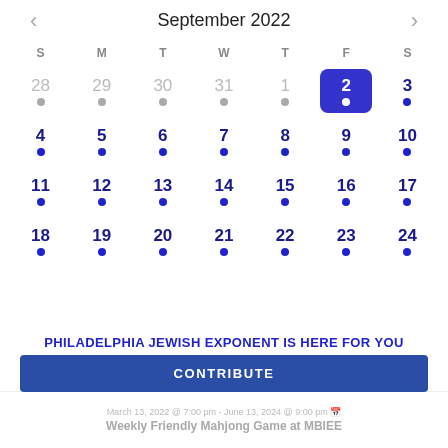September 2022
| S | M | T | W | T | F | S |
| --- | --- | --- | --- | --- | --- | --- |
| 28 | 29 | 30 | 31 | 1 | 2 | 3 |
| 4 | 5 | 6 | 7 | 8 | 9 | 10 |
| 11 | 12 | 13 | 14 | 15 | 16 | 17 |
| 18 | 19 | 20 | 21 | 22 | 23 | 24 |
| 25 | 26 | 27 | 28 | 29 | 30 | 31 |
PHILADELPHIA JEWISH EXPONENT IS HERE FOR YOU
Your voluntary contribution supports our efforts to deliver content that engages and helps strengthen the Jewish community in the Philadelphia area.
CONTRIBUTE
March 13, 2022 @ 7:00 pm - June 13, 2024 @ 9:00 pm
Weekly Friendly Mahjong Game at MBIEE